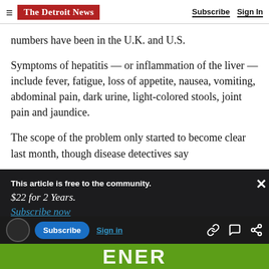The Detroit News — Subscribe  Sign In
numbers have been in the U.K. and U.S.
Symptoms of hepatitis — or inflammation of the liver — include fever, fatigue, loss of appetite, nausea, vomiting, abdominal pain, dark urine, light-colored stools, joint pain and jaundice.
The scope of the problem only started to become clear last month, though disease detectives say
This article is free to the community.
$22 for 2 Years.
Subscribe now
Advertisement
Subscribe  Sign in